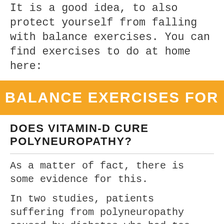It is a good idea, to also protect yourself from falling with balance exercises. You can find exercises to do at home here:
BALANCE EXERCISES FOR PO
DOES VITAMIN-D CURE POLYNEUROPATHY?
As a matter of fact, there is some evidence for this.
In two studies, patients suffering from polyneuropathy caused by diabetes who had too little vitamin D in their blood were given supplements to correct the vitamin deficiency. (Click here to read one of the studies).
This resulted in an improvement